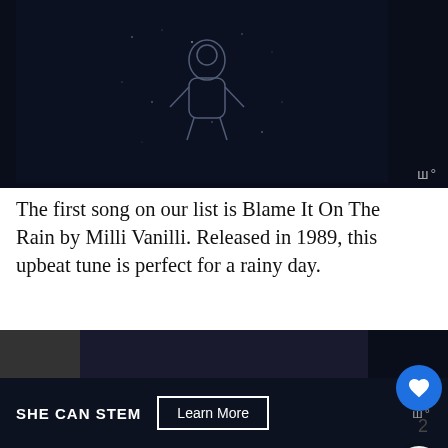[Figure (illustration): Dark blue/navy background with star field and outline illustration of an astronaut or figure, partial view of album art]
The first song on our list is Blame It On The Rain by Milli Vanilli. Released in 1989, this upbeat tune is perfect for a rainy day.
Blue Eyes Crying in the Rain by Willie Nelson
[Figure (screenshot): Bottom strip showing partial album thumbnail and SHE CAN STEM advertisement bar with Learn More button]